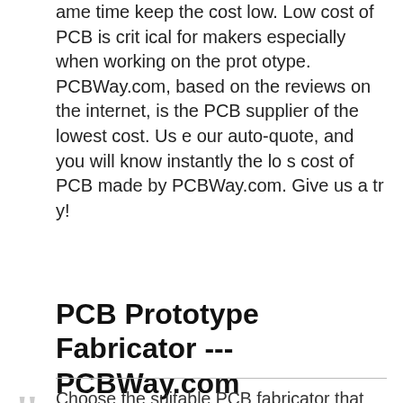ame time keep the cost low. Low cost of PCB is critical for makers especially when working on the prototype. PCBWay.com, based on the reviews on the internet, is the PCB supplier of the lowest cost. Use our auto-quote, and you will know instantly the los cost of PCB made by PCBWay.com. Give us a try!
PCB Prototype Fabricator --- PCBWay.com
Choose the suitable PCB fabricator that best fits your prototype needs. With our fabricating facilities at the heart of world's “Hardware Silicon Valley”, PCBWay.com is the active player in the field of PCB prototyping services for all makers in the globe. We are known for our quality, delivery timeliness, price competitiveness and after service. We save you time and money. Our automatic online pricing software tells how much you should pay for your PCBs, which is just a fraction of what you previously pay to other suppliers. Browse some projects in the page, you will get rough idea of what PCBWay -- a professional PCB prototype fabricator makes for our cust